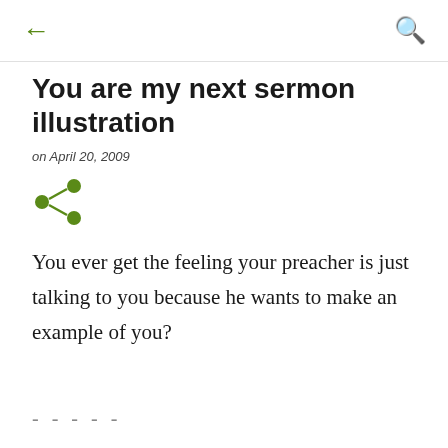← (back) | 🔍 (search)
You are my next sermon illustration
on April 20, 2009
[Figure (illustration): Green share icon (three connected dots/circles forming a network/share symbol)]
You ever get the feeling your preacher is just talking to you because he wants to make an example of you?
- - - - -